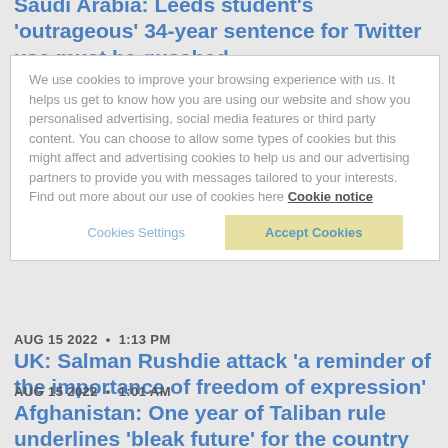Saudi Arabia: Leeds student's 'outrageous' 34-year sentence for Twitter use must be quashed
AUG 15 2022 • 3:50 PM
UK: Sarah Everard protesters should never have been at risk of prosecution
We use cookies to improve your browsing experience with us. It helps us get to know how you are using our website and show you personalised advertising, social media features or third party content. You can choose to allow some types of cookies but this might affect and advertising cookies to help us and our advertising partners to provide you with messages tailored to your interests. Find out more about our use of cookies here Cookie notice
AUG 15 2022 • 1:13 PM
UK: Salman Rushdie attack 'a reminder of the importance of freedom of expression'
AUG 15 2022 • 1:01 AM
Afghanistan: One year of Taliban rule underlines 'bleak future' for the country